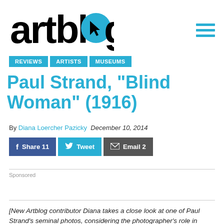artblog
REVIEWS | ARTISTS | MUSEUMS
Paul Strand, “Blind Woman” (1916)
By Diana Loercher Pazicky December 10, 2014
[Figure (other): Social sharing buttons: Share 11 (Facebook), Tweet (Twitter), Email 2]
Sponsored
[New Artblog contributor Diana takes a close look at one of Paul Strand’s seminal photos, considering the photographer’s role in